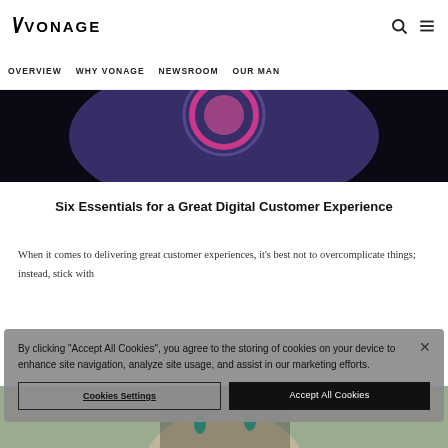VONAGE — nav icons: search, menu
OVERVIEW   WHY VONAGE   NEWSROOM   OUR MAN
[Figure (illustration): Dark hero image with purple and magenta circular graphic elements on black background]
Six Essentials for a Great Digital Customer Experience
When it comes to delivering great customer experiences, it's best not to overcomplicate things; instead, stick with
By clicking "Accept All Cookies", you agree to the storing of cookies on your device to enhance site navigation, analyze site usage, and assist in our marketing efforts.
Cookies Settings
Accept All Cookies
[Figure (photo): Bottom of page showing partial photo of a person with teal earrings]